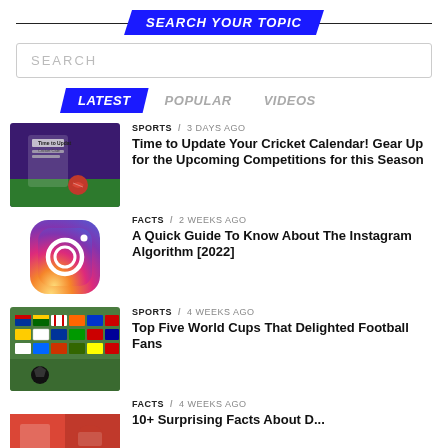SEARCH YOUR TOPIC
SEARCH
LATEST   POPULAR   VIDEOS
[Figure (photo): Cricket calendar promotional image with phone and cricket ball on green pitch]
SPORTS / 3 days ago
Time to Update Your Cricket Calendar! Gear Up for the Upcoming Competitions for this Season
[Figure (logo): Instagram app logo - colorful gradient square with camera icon]
FACTS / 2 weeks ago
A Quick Guide To Know About The Instagram Algorithm [2022]
[Figure (photo): Football World Cup flags photo]
SPORTS / 4 weeks ago
Top Five World Cups That Delighted Football Fans
[Figure (photo): Red colored photo for facts article]
FACTS / 4 weeks ago